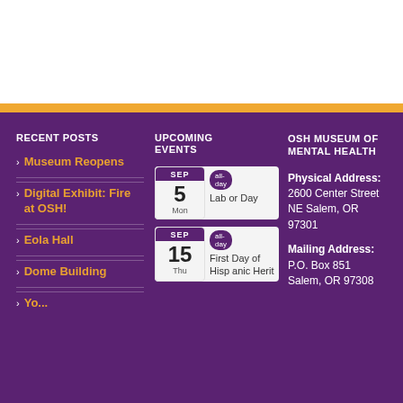RECENT POSTS
Museum Reopens
Digital Exhibit: Fire at OSH!
Eola Hall
Dome Building
UPCOMING EVENTS
SEP 5 Mon all-day Labor Day
SEP 15 Thu all-day First Day of Hispanic Herit
OSH MUSEUM OF MENTAL HEALTH
Physical Address: 2600 Center Street NE Salem, OR 97301
Mailing Address: P.O. Box 851 Salem, OR 97308